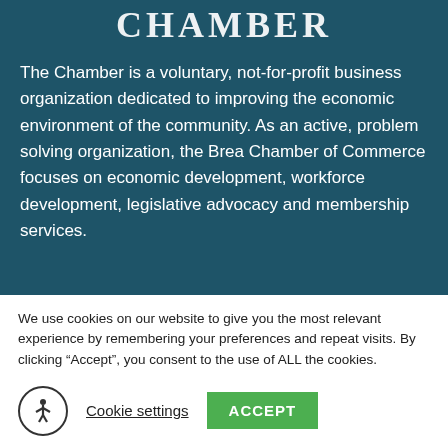[Figure (logo): Chamber logo text in white serif font on dark teal background]
The Chamber is a voluntary, not-for-profit business organization dedicated to improving the economic environment of the community. As an active, problem solving organization, the Brea Chamber of Commerce focuses on economic development, workforce development, legislative advocacy and membership services.
We use cookies on our website to give you the most relevant experience by remembering your preferences and repeat visits. By clicking “Accept”, you consent to the use of ALL the cookies.
Cookie settings  ACCEPT